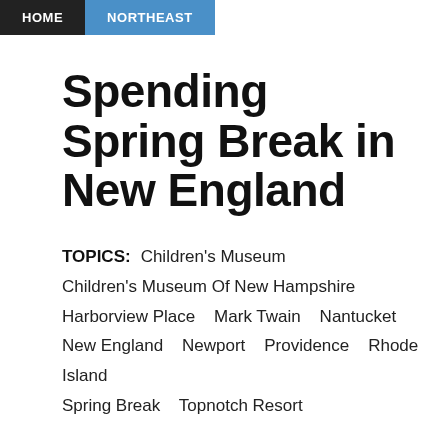HOME  NORTHEAST
Spending Spring Break in New England
TOPICS:   Children's Museum  Children's Museum Of New Hampshire  Harborview Place  Mark Twain  Nantucket  New England  Newport  Providence  Rhode Island  Spring Break  Topnotch Resort